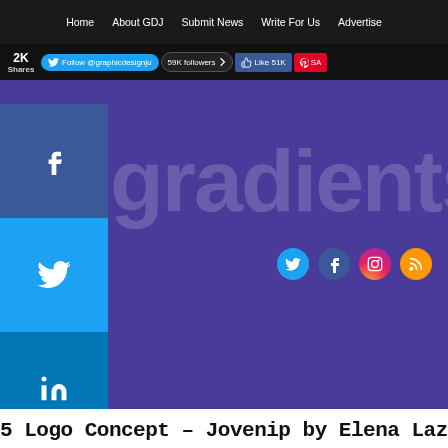Home  About GDJ  Submit News  Write For Us  Advertise
[Figure (screenshot): Website screenshot showing navigation bar, social media follow buttons (Twitter: Follow @graphicdesignju, 59K followers; Like 51K; SA...), purple hero banner with large white text gradient, social media icons (Twitter, Facebook, Instagram, RSS), side share buttons (Facebook, Twitter, LinkedIn, Pinterest, more), a dark red Source button, and partial article title at bottom.]
5  Logo Concept – Jovenip by Elena Lazareska